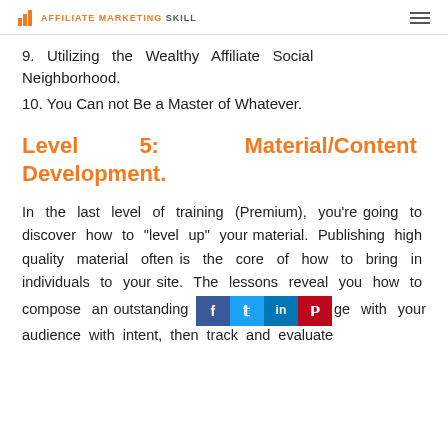AFFILIATE MARKETING SKILL
9. Utilizing the Wealthy Affiliate Social Neighborhood.
10. You Can not Be a Master of Whatever.
Level 5: Material/Content Development.
In the last level of training (Premium), you're going to discover how to “level up” your material. Publishing high quality material often is the core of how to bring in individuals to your site. The lessons reveal you how to compose an outstanding [social share bar] ge with your audience with intent, then track and evaluate